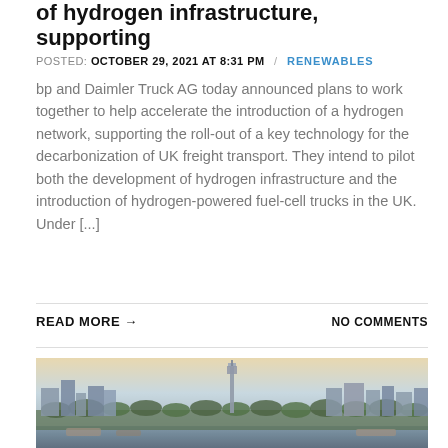of hydrogen infrastructure, supporting
POSTED: OCTOBER 29, 2021 AT 8:31 PM / RENEWABLES
bp and Daimler Truck AG today announced plans to work together to help accelerate the introduction of a hydrogen network, supporting the roll-out of a key technology for the decarbonization of UK freight transport. They intend to pilot both the development of hydrogen infrastructure and the introduction of hydrogen-powered fuel-cell trucks in the UK. Under [...]
READ MORE → NO COMMENTS
[Figure (photo): Panoramic cityscape photograph showing a river waterfront with buildings, trees, and a tall tower in the background under a warm sky at dusk or dawn.]